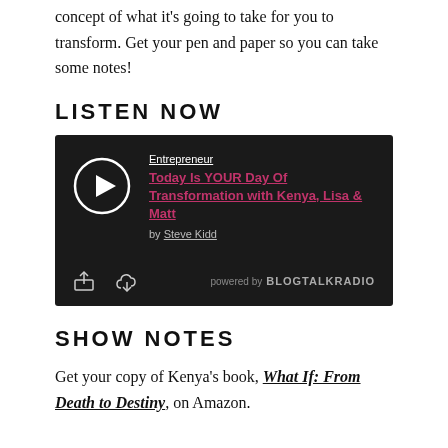concept of what it's going to take for you to transform. Get your pen and paper so you can take some notes!
LISTEN NOW
[Figure (other): BlogTalkRadio embedded audio player with dark background. Shows a play button (white circle with triangle), category label 'Entrepreneur', episode title 'Today Is YOUR Day Of Transformation with Kenya, Lisa & Matt' in pink/crimson underlined text, 'by Steve Kidd' in grey underlined text, share and download icons at bottom left, and 'powered by BLOGTALKRADIO' at bottom right.]
SHOW NOTES
Get your copy of Kenya's book, What If: From Death to Destiny, on Amazon.